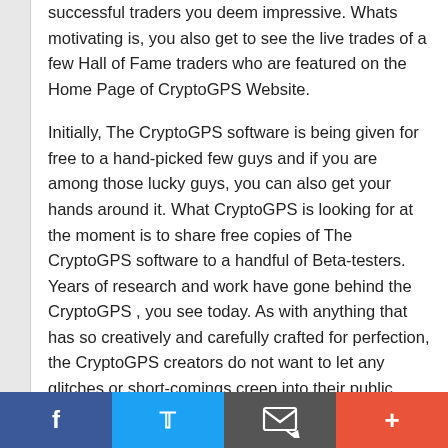successful traders you deem impressive. Whats motivating is, you also get to see the live trades of a few Hall of Fame traders who are featured on the Home Page of CryptoGPS Website.
Initially, The CryptoGPS software is being given for free to a hand-picked few guys and if you are among those lucky guys, you can also get your hands around it. What CryptoGPS is looking for at the moment is to share free copies of The CryptoGPS software to a handful of Beta-testers. Years of research and work have gone behind the CryptoGPS , you see today. As with anything that has so creatively and carefully crafted for perfection, the CryptoGPS creators do not want to let any glitches or short-comings creep into their public release. Your only job would be to provide invaluable feedback on the software's working and whether it goes down well to satisfy your earning targets. And guess what, all this
Facebook | Twitter | Email | +